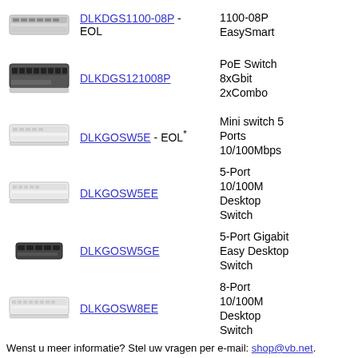DLKDGS1100-08P - EOL  1100-08P EasySmart
DLKDGS121008P  PoE Switch 8xGbit 2xCombo
DLKGOSW5E - EOL*  Mini switch 5 Ports 10/100Mbps
DLKGOSW5EE  5-Port 10/100M Desktop Switch
DLKGOSW5GE  5-Port Gigabit Easy Desktop Switch
DLKGOSW8EE  8-Port 10/100M Desktop Switch
Wenst u meer informatie? Stel uw vragen per e-mail: shop@vb.net.